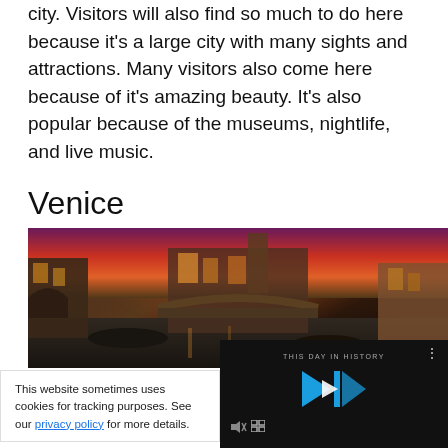city. Visitors will also find so much to do here because it's a large city with many sights and attractions. Many visitors also come here because of it's amazing beauty. It's also popular because of the museums, nightlife, and live music.
Venice
[Figure (photo): Photo of Venice canal at dusk/night with colorful buildings, boats, and a bridge lit up with warm lights against a purple-pink sky.]
Venice is a histori...
[Figure (screenshot): Video player overlay showing 'This Day in History' with blue play button controls, volume and fullscreen icons, and a progress bar.]
This website sometimes uses cookies for tracking purposes. See our privacy policy for more details.